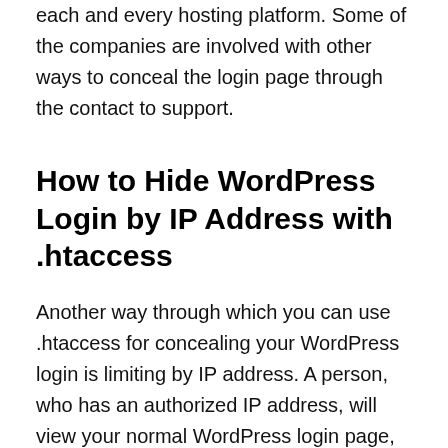each and every hosting platform. Some of the companies are involved with other ways to conceal the login page through the contact to support.
How to Hide WordPress Login by IP Address with .htaccess
Another way through which you can use .htaccess for concealing your WordPress login is limiting by IP address. A person, who has an authorized IP address, will view your normal WordPress login page, while rest of the others will see the following: